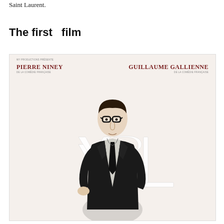Saint Laurent.
The first  film
[Figure (illustration): Movie poster illustration for a film about Yves Saint Laurent. A sketched figure of a young man in dark suit with glasses stands in front of a large YSL monogram logo. Text reads: PIERRE NINEY DE LA COMEDIE FRANCAISE (left) and GUILLAUME GALLIENNE DE LA COMEDIE FRANCAISE (right). Small production text at top left reads WY PRODUCTIONS PRÉSENTE.]